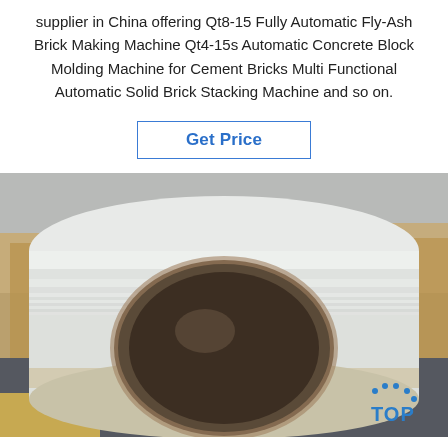supplier in China offering Qt8-15 Fully Automatic Fly-Ash Brick Making Machine Qt4-15s Automatic Concrete Block Molding Machine for Cement Bricks Multi Functional Automatic Solid Brick Stacking Machine and so on.
Get Price
[Figure (photo): A large roll of transparent/white plastic film or sheeting material, shown from a front angle revealing the hollow cardboard core, resting on a concrete floor with wooden pallets/boards in the background. A 'TOP' watermark logo appears in the bottom right corner.]